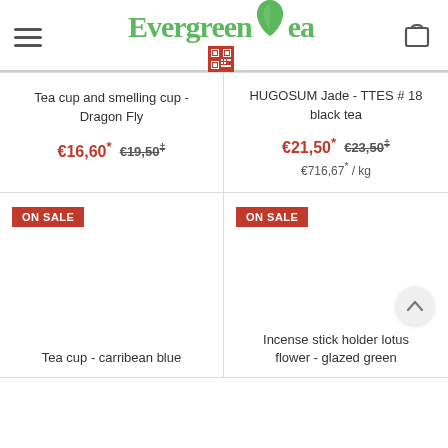[Figure (logo): Evergreen Tea logo with green leaf icon and red QR code stamp below]
Tea cup and smelling cup - Dragon Fly
€16,60* €19,50‡
HUGOSUM Jade - TTES # 18 black tea
€21,50* €23,50‡  €716,67* / kg
ON SALE
Tea cup - carribean blue
ON SALE
Incense stick holder lotus flower - glazed green